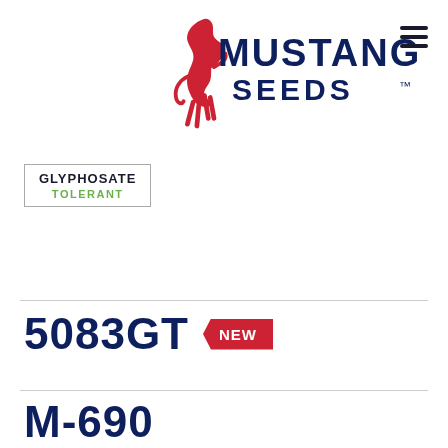[Figure (logo): Mustang Seeds logo with red rearing horse and dark blue MUSTANG SEEDS text]
GLYPHOSATE TOLERANT
5083GT NEW
M-690